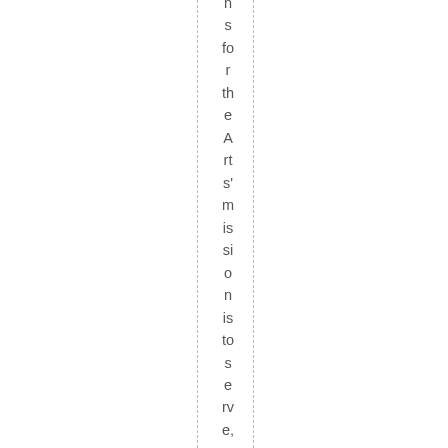s for the Arts' mission is to serve, advance